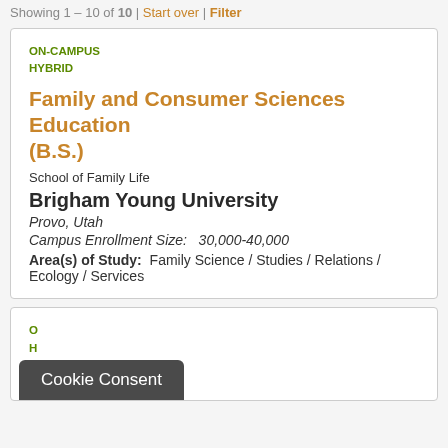Showing 1 - 10 of 10 | Start over | Filter
ON-CAMPUS
HYBRID
Family and Consumer Sciences Education (B.S.)
School of Family Life
Brigham Young University
Provo, Utah
Campus Enrollment Size:  30,000-40,000
Area(s) of Study:  Family Science / Studies / Relations / Ecology / Services
Cookie Consent